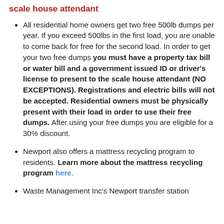scale house attendant
All residential home owners get two free 500lb dumps per year. If you exceed 500lbs in the first load, you are unable to come back for free for the second load. In order to get your two free dumps you must have a property tax bill or water bill and a government issued ID or driver's license to present to the scale house attendant (NO EXCEPTIONS). Registrations and electric bills will not be accepted. Residential owners must be physically present with their load in order to use their free dumps. After using your free dumps you are eligible for a 30% discount.
Newport also offers a mattress recycling program to residents. Learn more about the mattress recycling program here.
Waste Management Inc's Newport transfer station